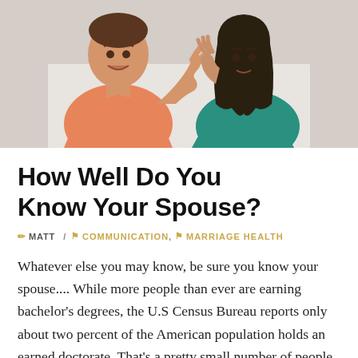[Figure (photo): A man in an orange shirt and a woman in a teal shirt facing each other in a conversation or argument, both with expressive hand gestures, on a white background.]
How Well Do You Know Your Spouse?
✏ MATT / 🔖 COMMUNICATION, 🔖 MARRIAGE HEALTH
Whatever else you may know, be sure you know your spouse.... While more people than ever are earning bachelor's degrees, the U.S Census Bureau reports only about two percent of the American population holds an earned doctorate. That's a pretty small number of people who are either